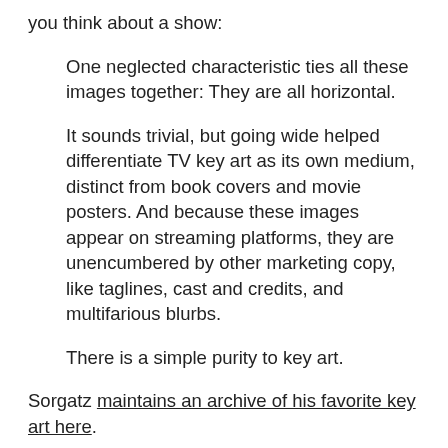you think about a show:
One neglected characteristic ties all these images together: They are all horizontal.
It sounds trivial, but going wide helped differentiate TV key art as its own medium, distinct from book covers and movie posters. And because these images appear on streaming platforms, they are unencumbered by other marketing copy, like taglines, cast and credits, and multifarious blurbs.
There is a simple purity to key art.
Sorgatz maintains an archive of his favorite key art here.
MORE ABOUT...
design / Rex Sorgatz / TV